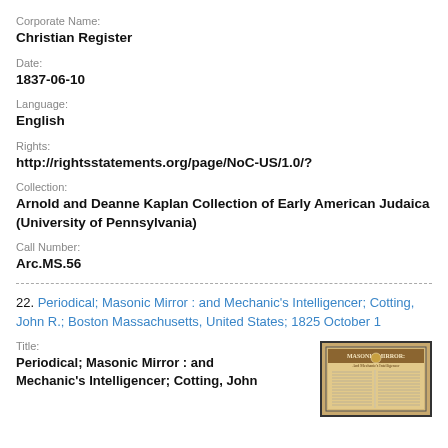Corporate Name:
Christian Register
Date:
1837-06-10
Language:
English
Rights:
http://rightsstatements.org/page/NoC-US/1.0/?
Collection:
Arnold and Deanne Kaplan Collection of Early American Judaica (University of Pennsylvania)
Call Number:
Arc.MS.56
22. Periodical; Masonic Mirror : and Mechanic's Intelligencer; Cotting, John R.; Boston Massachusetts, United States; 1825 October 1
Title:
Periodical; Masonic Mirror : and Mechanic's Intelligencer; Cotting, John
[Figure (photo): Thumbnail image of the Masonic Mirror periodical cover page]